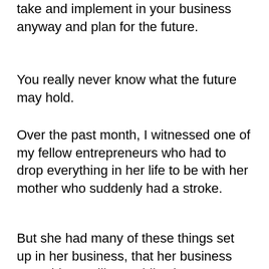take and implement in your business anyway and plan for the future.
You really never know what the future may hold.
Over the past month, I witnessed one of my fellow entrepreneurs who had to drop everything in her life to be with her mother who suddenly had a stroke.
But she had many of these things set up in her business, that her business was able to still run while she wasn't able to be present in her business.
Running a business isn't always going